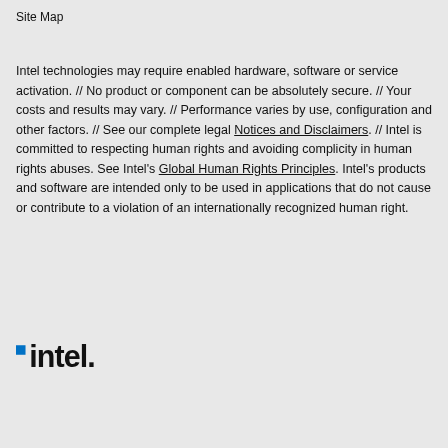Site Map
Intel technologies may require enabled hardware, software or service activation. // No product or component can be absolutely secure. // Your costs and results may vary. // Performance varies by use, configuration and other factors. // See our complete legal Notices and Disclaimers. // Intel is committed to respecting human rights and avoiding complicity in human rights abuses. See Intel's Global Human Rights Principles. Intel's products and software are intended only to be used in applications that do not cause or contribute to a violation of an internationally recognized human right.
[Figure (logo): Intel logo with blue square accent mark]